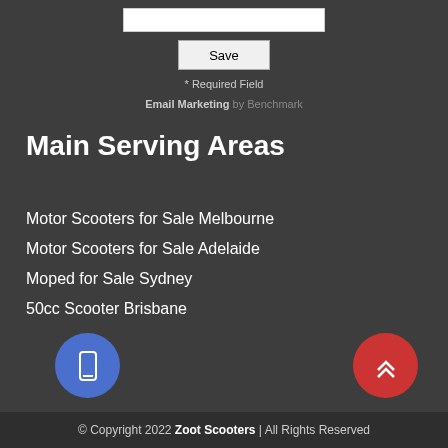[Figure (other): Text input field (white rectangle)]
[Figure (other): Save button]
* Required Field
Email Marketing by Benchmark
Main Serving Areas
Motor Scooters for Sale Melbourne
Motor Scooters for Sale Adelaide
Moped for Sale Sydney
50cc Scooter Brisbane
[Figure (other): Blue circular button with mobile/tablet icon]
[Figure (other): Red circular button with double up-chevron icon]
© Copyright 2022 Zoot Scooters | All Rights Reserved